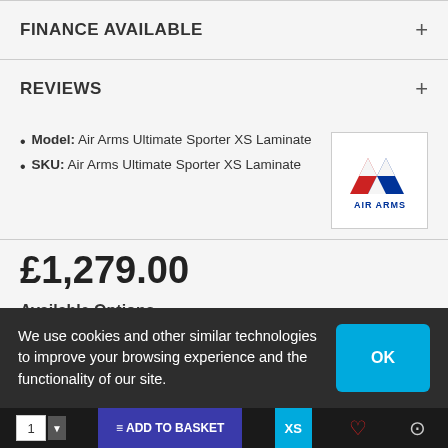FINANCE AVAILABLE
REVIEWS
Model: Air Arms Ultimate Sporter XS Laminate
SKU: Air Arms Ultimate Sporter XS Laminate
[Figure (logo): Air Arms logo with red and blue triangular mountain shapes and 'AIR ARMS' text below]
£1,279.00
Available Options
We use cookies and other similar technologies to improve your browsing experience and the functionality of our site.